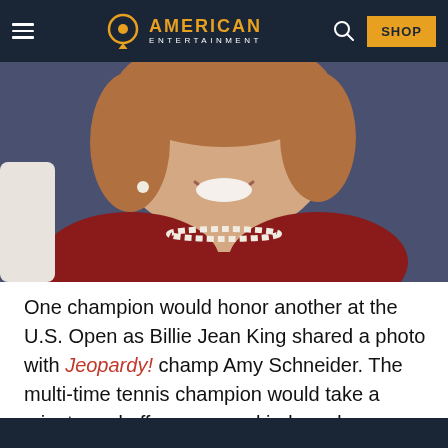American Entertainment — navigation bar with logo, search, and SHOP button
[Figure (photo): Close-up photo of a smiling woman with light brown hair, wearing a red dress and pearl necklace, photographed against a dark blue/grey background.]
One champion would honor another at the U.S. Open as Billie Jean King shared a photo with Jeopardy! champ Amy Schneider. The multi-time tennis champion would take a minute and offer up some kind words. Schneider, as you can tell, was quite smitten by King's